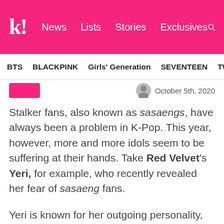k! News  Lists  Stories  Exclusives
BTS  BLACKPINK  Girls' Generation  SEVENTEEN  TWICE
October 5th, 2020
Stalker fans, also known as sasaengs, have always been a problem in K-Pop. This year, however, more and more idols seem to be suffering at their hands. Take Red Velvet's Yeri, for example, who recently revealed her fear of sasaeng fans.
Yeri is known for her outgoing personality, both with friends and with fans. The 21-year-old singer loves to interact with ReVeluvs whenever she can, particularly on social media. In the past, she regularly held live broadcasts on